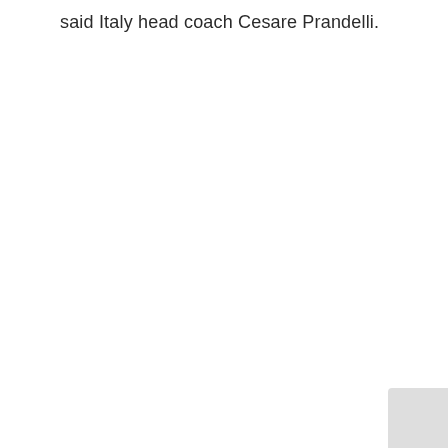said Italy head coach Cesare Prandelli.